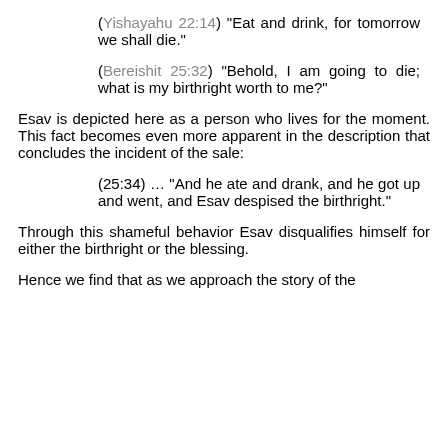(Yishayahu 22:14) "Eat and drink, for tomorrow we shall die."
(Bereishit 25:32) "Behold, I am going to die; what is my birthright worth to me?"
Esav is depicted here as a person who lives for the moment. This fact becomes even more apparent in the description that concludes the incident of the sale:
(25:34) … "And he ate and drank, and he got up and went, and Esav despised the birthright."
Through this shameful behavior Esav disqualifies himself for either the birthright or the blessing.
Hence we find that as we approach the story of the